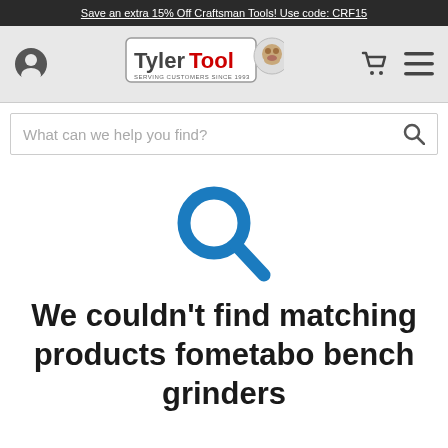Save an extra 15% Off Craftsman Tools! Use code: CRF15
[Figure (logo): Tyler Tool logo with bulldog mascot, text 'SERVING CUSTOMERS SINCE 1993']
What can we help you find?
[Figure (illustration): Large blue search magnifying glass icon indicating no results found]
We couldn't find matching products fometabo bench grinders